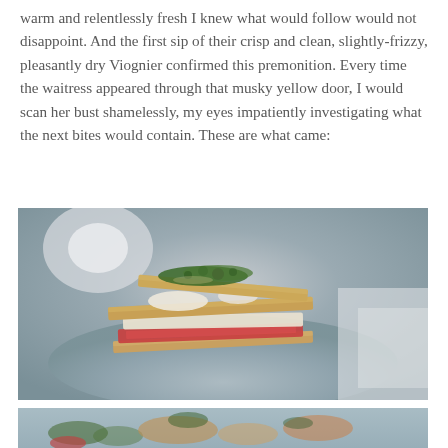warm and relentlessly fresh I knew what would follow would not disappoint. And the first sip of their crisp and clean, slightly-frizzy, pleasantly dry Viognier confirmed this premonition. Every time the waitress appeared through that musky yellow door, I would scan her bust shamelessly, my eyes impatiently investigating what the next bites would contain. These are what came:
[Figure (photo): Close-up food photograph of layered crispy flatbread or cracker stacks topped with tomato slices, mozzarella or white cheese, and green herb pesto/sauce, served on a grey plate with blurred background]
[Figure (photo): Partial view of another food dish, appears to be similar layered flatbread/cracker preparation with green herb sauce and tomatoes, similar styling to the image above]